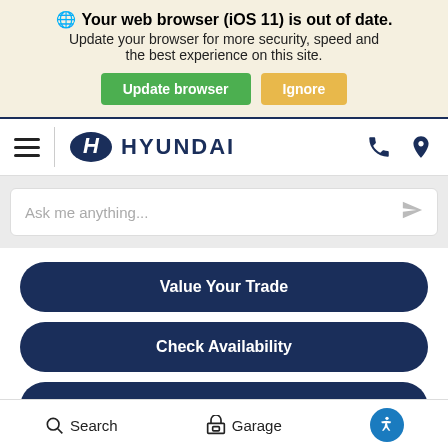[Figure (screenshot): Browser update notification banner with globe icon, bold title 'Your web browser (iOS 11) is out of date.', subtitle text, and two buttons: 'Update browser' (green) and 'Ignore' (orange)]
[Figure (logo): Hyundai navigation bar with hamburger menu, Hyundai H logo and HYUNDAI wordmark in dark navy, phone and location icons on the right]
[Figure (screenshot): Search input box with placeholder text 'Ask me anything...' and a send/paper-plane icon]
[Figure (infographic): Four dark navy pill-shaped buttons: 'Value Your Trade', 'Check Availability', 'Window Sticker', 'Brochure']
Search   Garage   (accessibility icon)